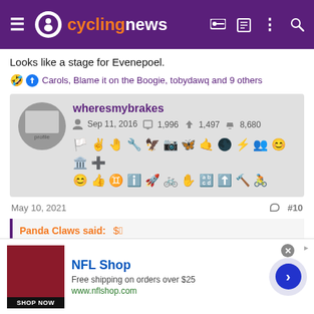cyclingnews
Looks like a stage for Evenepoel.
🤣👍 Carols, Blame it on the Boogie, tobydawq and 9 others
wheresmybrakes — Sep 11, 2016 — 1,996 messages — 1,497 likes — 8,680 points
May 10, 2021  #10
Panda Claws said:
[Figure (screenshot): NFL Shop advertisement banner with shop now button]